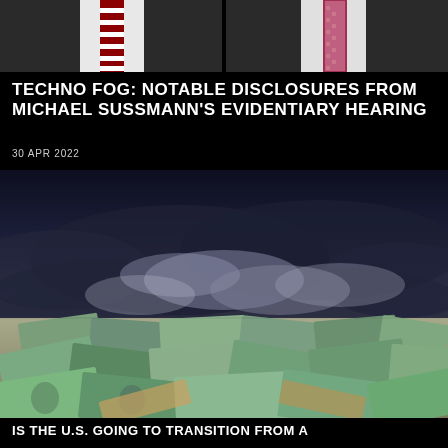[Figure (photo): Two men in suits with ties cropped at chest/shoulder level, split by a vertical divider — left figure in dark suit with striped red/white tie, right figure in dark suit with pinkish/red patterned tie]
TECHNO FOG: NOTABLE DISCLOSURES FROM MICHAEL SUSSMANN'S EVIDENTIARY HEARING
30 APR 2022
[Figure (photo): Dramatic stormy sky with dark storm clouds over a flat surface covered in scattered US hundred-dollar bills filling the lower half of the image]
IS THE U.S. GOING TO TRANSITION FROM A